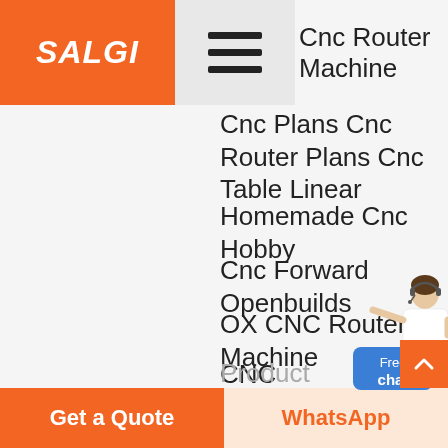SALGI
Cnc Router Machine
Cnc Plans Cnc Router Plans Cnc Table Linear
Homemade Cnc Hobby
Cnc Forward Openbuilds
OX CNC Router Machine
CNC Machanical kit with 4 pieces Nema 23 Stepper Motor View Openbuilds OX CNC Router OOZNEST
Product Details...
[Figure (illustration): Customer service agent in white jacket with headset, pointing gesture, displayed next to a blue 'Free chat' button]
Get a Quote | WhatsApp